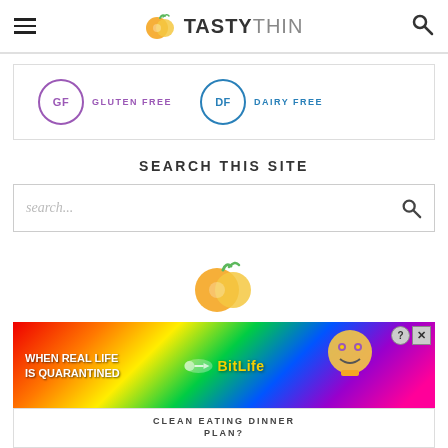TASTYTHIN (logo, hamburger menu, search icon)
[Figure (logo): GF circle badge (purple) labeled GLUTEN FREE and DF circle badge (blue) labeled DAIRY FREE]
SEARCH THIS SITE
search...
[Figure (logo): TastyThin orange citrus logo centered]
[Figure (other): BitLife advertisement banner: WHEN REAL LIFE IS QUARANTINED, rainbow background with BitLife logo and character]
CLEAN EATING DINNER PLAN?